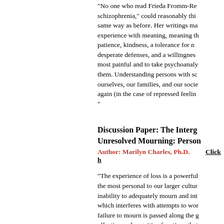"No one who read Frieda Fromm-Rei schizophrenia," could reasonably thi same way as before. Her writings ma experience with meaning, meaning th patience, kindness, a tolerance for n desperate defenses, and a willingnes most painful and to take psychoanaly them. Understanding persons with sc ourselves, our families, and our socie again (in the case of repressed feelin "
Discussion Paper: The Interge Unresolved Mourning: Persona
Author: Marilyn Charles, Ph.D.    Click h
"The experience of loss is a powerful the most personal to our larger cultur inability to adequately mourn and int which interferes with attempts to wor failure to mourn is passed along the affective and cognitive functions that relationships, thereby compounding t the face of a harsh and unforgiving w